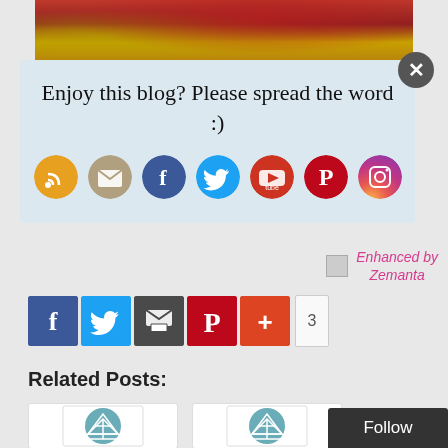[Figure (photo): Partial photo of a person in red polka dot clothing on a bed with yellow/golden bedding, cropped at top]
Enjoy this blog? Please spread the word :)
[Figure (infographic): Row of social media icon circles: RSS (orange), Email (tan/beige), Facebook (blue), Twitter (light blue), YouTube (red-orange), Pinterest (red), Instagram (purple gradient)]
[Figure (infographic): Enhanced by Zemanta link with small broken image placeholder and pink text]
[Figure (infographic): Social share bar with Facebook (blue), Twitter (blue), Email/Print (dark gray), Pinterest (red), More (red/orange +), and count badge showing 3]
Related Posts:
[Figure (infographic): Two related post thumbnail cards showing teal/blue circle network/globe icons on white card backgrounds]
Follow